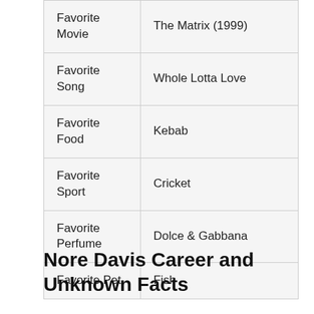| Favorite Movie | The Matrix (1999) |
| Favorite Song | Whole Lotta Love |
| Favorite Food | Kebab |
| Favorite Sport | Cricket |
| Favorite Perfume | Dolce & Gabbana |
| Favorite Pet | Fish |
Nore Davis Career and Unknown Facts